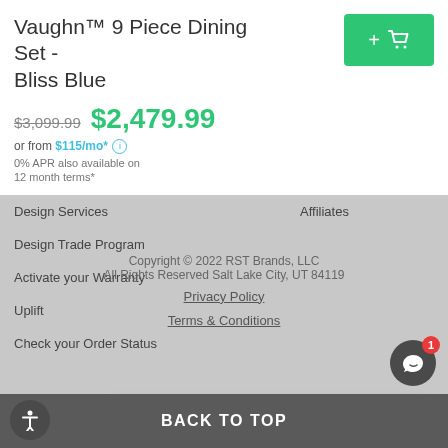Vaughn™ 9 Piece Dining Set - Bliss Blue
$3,099.99 $2,479.99
or from $115/mo* ⓘ
0% APR also available on 12 month terms*
Design Services
Design Trade Program
Activate your Warranty
Uplift
Check your Order Status
Affiliates
FAQs
Customer Reviews
Catalog
Patents
RST Brands
Copyright © 2022 RST Brands, LLC
All Rights Reserved Salt Lake City, UT 84119
Privacy Policy
Terms & Conditions
BACK TO TOP